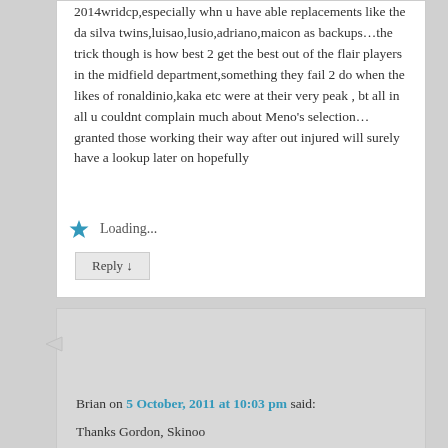2014wridcp,especially whn u have able replacements like the da silva twins,luisao,lusio,adriano,maicon as backups…the trick though is how best 2 get the best out of the flair players in the midfield department,something they fail 2 do when the likes of ronaldinio,kaka etc were at their very peak , bt all in all u couldnt complain much about Meno's selection…granted those working their way after out injured will surely have a lookup later on hopefully
Loading...
Reply ↓
Brian on 5 October, 2011 at 10:03 pm said:
Thanks Gordon, Skinoo